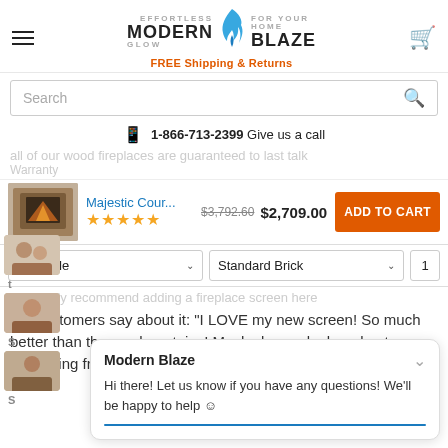MODERN BLAZE — FREE Shipping & Returns
Search
1-866-713-2399 Give us a call
Majestic Cour... $3,792.60 $2,709.00 ADD TO CART — 4.5 stars
36" Wide — Standard Brick — 1
our customers say about it: "I LOVE my new screen! So much better than the mesh curtains! Much cleaner look and not distracting from the fireplace at all! EASY INSTALL!"
Modern Blaze
Hi there! Let us know if you have any questions! We'll be happy to help ☺